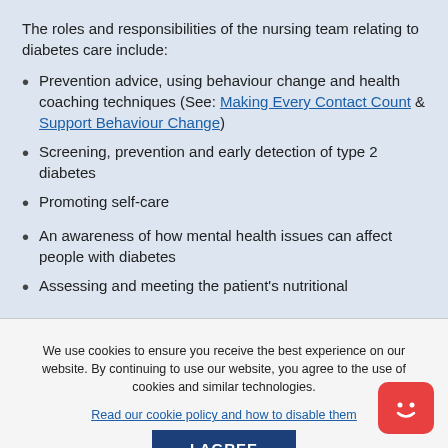The roles and responsibilities of the nursing team relating to diabetes care include:
Prevention advice, using behaviour change and health coaching techniques (See: Making Every Contact Count & Support Behaviour Change)
Screening, prevention and early detection of type 2 diabetes
Promoting self-care
An awareness of how mental health issues can affect people with diabetes
Assessing and meeting the patient's nutritional
We use cookies to ensure you receive the best experience on our website. By continuing to use our website, you agree to the use of cookies and similar technologies. Read our cookie policy and how to disable them
I AGREE